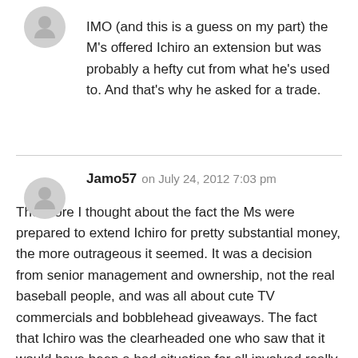IMO (and this is a guess on my part) the M's offered Ichiro an extension but was probably a hefty cut from what he's used to.  And that's why he asked for a trade.
Jamo57 on July 24, 2012 7:03 pm
The more I thought about the fact the Ms were prepared to extend Ichiro for pretty substantial money, the more outrageous it seemed.  It was a decision from senior management and ownership, not the real baseball people, and was all about cute TV commercials and bobblehead giveaways.  The fact that Ichiro was the clearheaded one who saw that it would have been a bad situation for all involved really